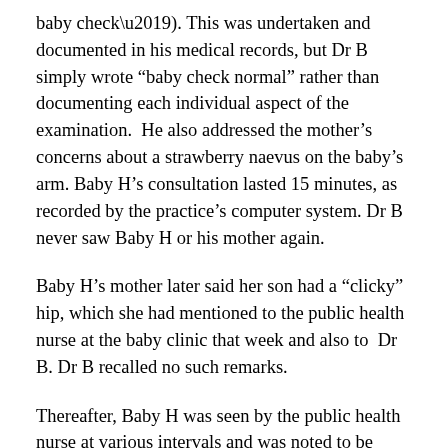baby check'). This was undertaken and documented in his medical records, but Dr B simply wrote “baby check normal” rather than documenting each individual aspect of the examination. He also addressed the mother’s concerns about a strawberry naevus on the baby’s arm. Baby H’s consultation lasted 15 minutes, as recorded by the practice’s computer system. Dr B never saw Baby H or his mother again.
Baby H’s mother later said her son had a “clicky” hip, which she had mentioned to the public health nurse at the baby clinic that week and also to Dr B. Dr B recalled no such remarks.
Thereafter, Baby H was seen by the public health nurse at various intervals and was noted to be doing well. He also had two consultations with other GPs at the practice for vomiting and regurgitation